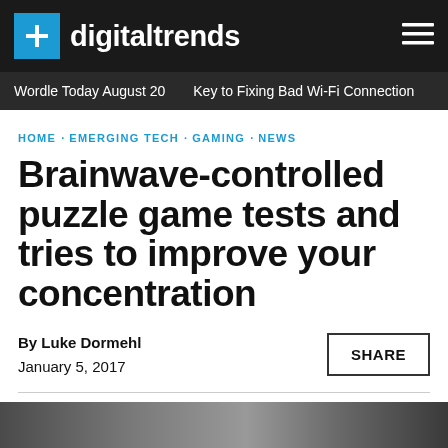digitaltrends
Wordle Today August 20  ·  Key to Fixing Bad Wi-Fi Connection
HOME · EMERGING TECH · GAMING · NEWS
Brainwave-controlled puzzle game tests and tries to improve your concentration
By Luke Dormehl
January 5, 2017
[Figure (photo): Partial view of a photo at the bottom of the page, dark toned image]